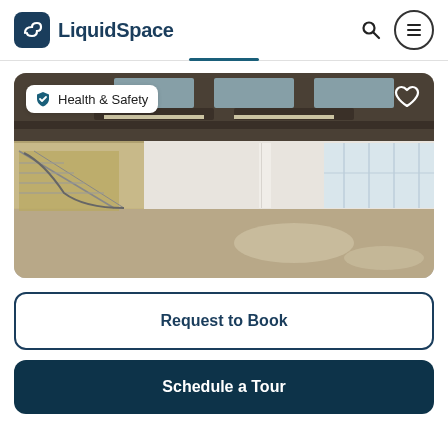LiquidSpace
[Figure (photo): Interior photo of a large open commercial/office space with exposed ceiling, industrial ductwork, concrete floors, white walls, and large windows at the far end letting in natural light. A staircase with metal railings is visible on the left side.]
Request to Book
Schedule a Tour